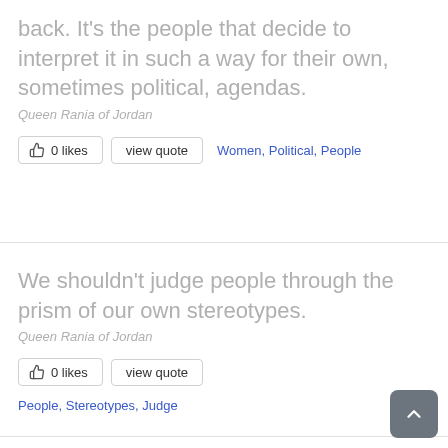back. It's the people that decide to interpret it in such a way for their own, sometimes political, agendas.
Queen Rania of Jordan
0 likes  view quote  Women, Political, People
We shouldn't judge people through the prism of our own stereotypes.
Queen Rania of Jordan
0 likes  view quote  People, Stereotypes, Judge